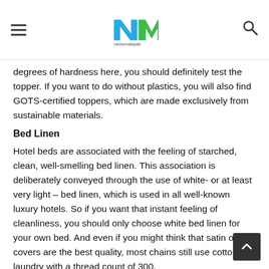newsmalayali logo header
degrees of hardness here, you should definitely test the topper. If you want to do without plastics, you will also find GOTS-certified toppers, which are made exclusively from sustainable materials.
Bed Linen
Hotel beds are associated with the feeling of starched, clean, well-smelling bed linen. This association is deliberately conveyed through the use of white- or at least very light – bed linen, which is used in all well-known luxury hotels. So if you want that instant feeling of cleanliness, you should only choose white bed linen for your own bed. And even if you might think that satin or silk covers are the best quality, most chains still use cotton laundry with a thread count of 300.
Silk Pillows